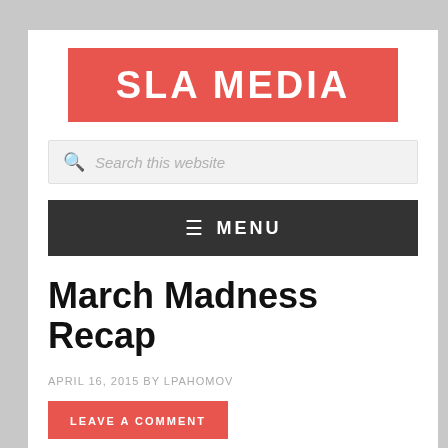SLA MEDIA
[Figure (other): Search bar with placeholder text 'Search this website']
≡ MENU
March Madness Recap
APRIL 16, 2015 BY LPAHOMOV
LEAVE A COMMENT